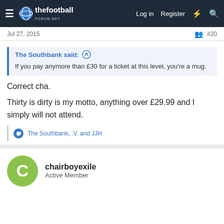thefootballforum.net — Log in | Register
Jul 27, 2015   #20
The Southbank said: ↑
If you pay anymore than £30 for a ticket at this level, you're a mug.
Correct cha.
Thirty is dirty is my motto, anything over £29.99 and I simply will not attend.
The Southbank, .V. and JJH
chairboyexile
Active Member